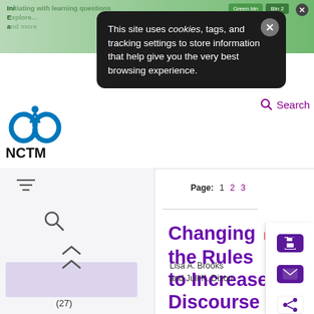[Figure (screenshot): NCTM website screenshot showing a cookie consent popup over a page listing an article titled 'Changing the Rules to Increase Discourse' by Lisa A. Brooks and Juli K. Dixon. The popup reads: This site uses cookies, tags, and tracking settings to store information that help give you the very best browsing experience.]
This site uses cookies, tags, and tracking settings to store information that help give you the very best browsing experience.
Search
Page: 1 2 3
Changing the Rules to Increase Discourse
Lisa A. Brooks and Juli K. Dixon
(27)